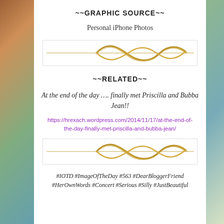~~GRAPHIC SOURCE~~
Personal iPhone Photos
[Figure (illustration): Decorative gold wave/ribbon divider element on white background with light border]
~~RELATED~~
At the end of the day …. finally met Priscilla and Bubba Jean!!
https://hrexach.wordpress.com/2014/11/17/at-the-end-of-the-day-finally-met-priscilla-and-bubba-jean/
[Figure (illustration): Decorative gold wave/ribbon divider element on white background with light border]
#IOTD #ImageOfTheDay #563 #DearBloggerFriend #HerOwnWords #Concert #Serious #Silly #JustBeautiful